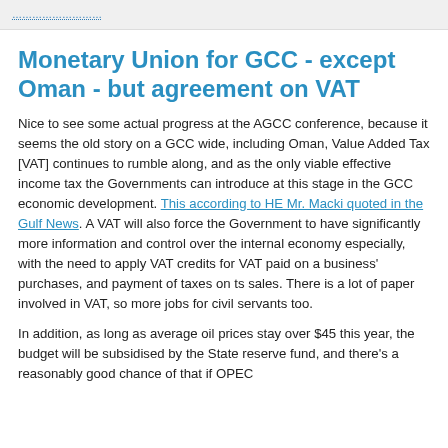Monetary Union for GCC - except Oman - but agreement on VAT
Nice to see some actual progress at the AGCC conference, because it seems the old story on a GCC wide, including Oman, Value Added Tax [VAT] continues to rumble along, and as the only viable effective income tax the Governments can introduce at this stage in the GCC economic development. This according to HE Mr. Macki quoted in the Gulf News. A VAT will also force the Government to have significantly more information and control over the internal economy especially, with the need to apply VAT credits for VAT paid on a business' purchases, and payment of taxes on ts sales. There is a lot of paper involved in VAT, so more jobs for civil servants too.
In addition, as long as average oil prices stay over $45 this year, the budget will be subsidised by the State reserve fund, and there's a reasonably good chance of that if OPEC